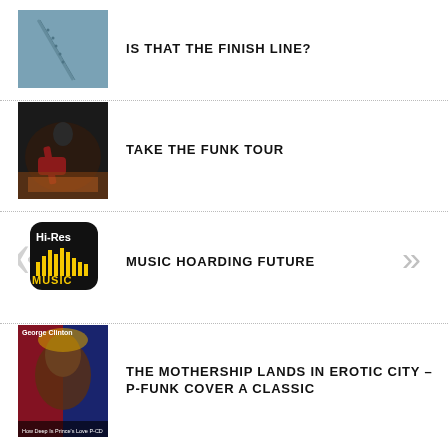[Figure (photo): Blueish aerial or abstract image with diagonal lines, possibly a guitar neck or runway]
IS THAT THE FINISH LINE?
[Figure (photo): Musician playing red electric guitar on stage, dark background]
TAKE THE FUNK TOUR
[Figure (logo): Hi-Res Music app icon: black square with yellow waveform bars and text MUSIC, with large grey quotation marks overlay]
MUSIC HOARDING FUTURE
[Figure (photo): George Clinton album cover with face and patriotic imagery]
THE MOTHERSHIP LANDS IN EROTIC CITY – P-FUNK COVER A CLASSIC